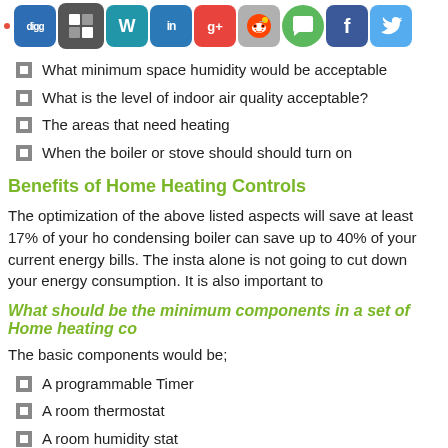[Figure (other): Social sharing icons bar including digg, delicious, wordpress, linkedin, google, reddit, message, facebook, twitter]
What minimum space humidity would be acceptable
What is the level of indoor air quality acceptable?
The areas that need heating
When the boiler or stove should should turn on
Benefits of Home Heating Controls
The optimization of the above listed aspects will save at least 17% of your ho condensing boiler can save up to 40% of your current energy bills. The insta alone is not going to cut down your energy consumption. It is also important to
What should be the minimum components in a set of Home heating co
The basic components would be;
A programmable Timer
A room thermostat
A room humidity stat
A hot water storage cylinder thermostat
Thermostatic radiator valve